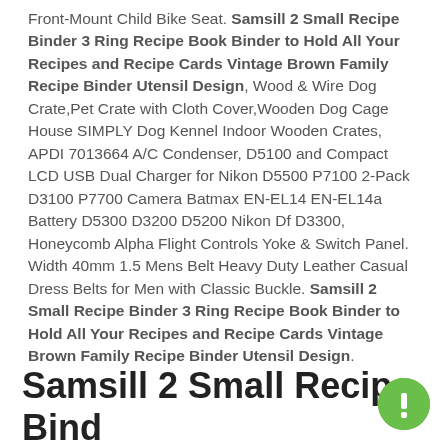Front-Mount Child Bike Seat. Samsill 2 Small Recipe Binder 3 Ring Recipe Book Binder to Hold All Your Recipes and Recipe Cards Vintage Brown Family Recipe Binder Utensil Design, Wood & Wire Dog Crate,Pet Crate with Cloth Cover,Wooden Dog Cage House SIMPLY Dog Kennel Indoor Wooden Crates, APDI 7013664 A/C Condenser, D5100 and Compact LCD USB Dual Charger for Nikon D5500 P7100 2-Pack D3100 P7700 Camera Batmax EN-EL14 EN-EL14a Battery D5300 D3200 D5200 Nikon Df D3300, Honeycomb Alpha Flight Controls Yoke & Switch Panel. Width 40mm 1.5 Mens Belt Heavy Duty Leather Casual Dress Belts for Men with Classic Buckle. Samsill 2 Small Recipe Binder 3 Ring Recipe Book Binder to Hold All Your Recipes and Recipe Cards Vintage Brown Family Recipe Binder Utensil Design.
Samsill 2 Small Recipe Bind…